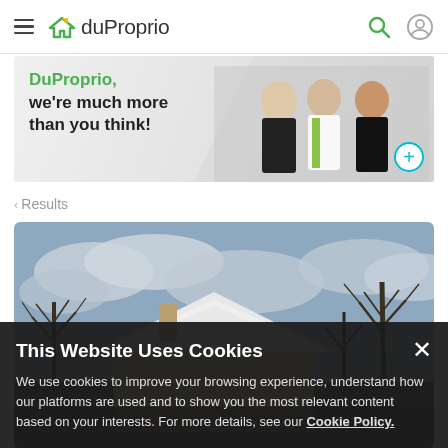duProprio navigation bar with hamburger menu, logo, search and profile icons
[Figure (photo): DuProprio banner advertisement showing three real estate professionals (two men, one woman) with text 'DuProprio, we're much more than you think!' and a cyan plus-circle icon]
< Results
[Figure (photo): Exterior photo of a house in winter with snow on the roof, bare trees, and an overcast sky]
This Website Uses Cookies
We use cookies to improve your browsing experience, understand how our platforms are used and to show you the most relevant content based on your interests. For more details, see our Cookie Policy.